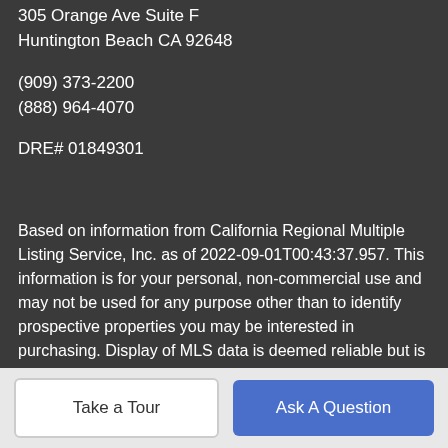305 Orange Ave Suite F
Huntington Beach CA 92648
(909) 373-2200
(888) 964-4070
DRE# 01849301
Based on information from California Regional Multiple Listing Service, Inc. as of 2022-09-01T00:43:37.957. This information is for your personal, non-commercial use and may not be used for any purpose other than to identify prospective properties you may be interested in purchasing. Display of MLS data is deemed reliable but is not guaranteed accurate by the MLS or Mainstreet Realtors®. Licensed in the State of California, USA.
Take a Tour
Ask A Question